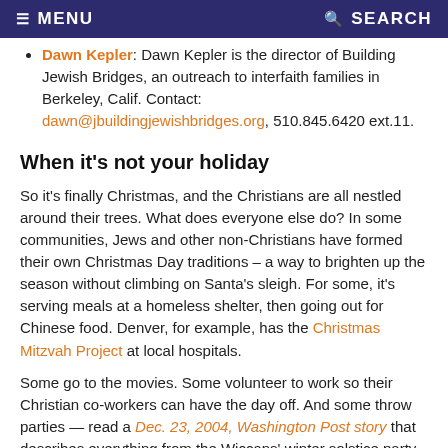☰ MENU   🔍 SEARCH
Dawn Kepler: Dawn Kepler is the director of Building Jewish Bridges, an outreach to interfaith families in Berkeley, Calif. Contact: dawn@jbuildingjewishbridges.org, 510.845.6420 ext.11.
When it's not your holiday
So it's finally Christmas, and the Christians are all nestled around their trees. What does everyone else do? In some communities, Jews and other non-Christians have formed their own Christmas Day traditions – a way to brighten up the season without climbing on Santa's sleigh. For some, it's serving meals at a homeless shelter, then going out for Chinese food. Denver, for example, has the Christmas Mitzvah Project at local hospitals.
Some go to the movies. Some volunteer to work so their Christian co-workers can have the day off. And some throw parties — read a Dec. 23, 2004, Washington Post story that describes everything from the Wiccans' winter solstice party to the Gefilte Fish Gala. Hundreds show up each year at the National Museum of American Jewish History in Philadelphia for storytelling and family activities. On Christmas Eve, Jewish singles flock to The Ball in New York